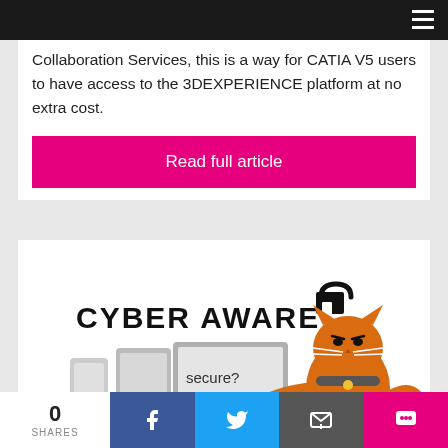Navigation bar with hamburger menu
Collaboration Services, this is a way for CATIA V5 users to have access to the 3DEXPERIENCE platform at no extra cost.
Read full article
[Figure (illustration): Cyber Aware campaign image showing the text 'CYBER AWARE' with a padlock icon, devices (phone, tablet, laptop) with 'Is it secure?' text, and an orange cartoon cat pointing]
0 SHARES | Facebook share | Twitter share | Email share | Chat